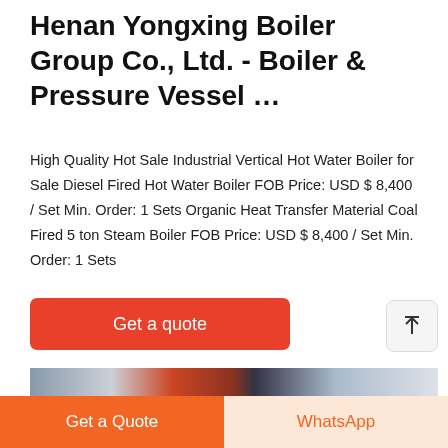Henan Yongxing Boiler Group Co., Ltd. - Boiler & Pressure Vessel …
High Quality Hot Sale Industrial Vertical Hot Water Boiler for Sale Diesel Fired Hot Water Boiler FOB Price: USD $ 8,400 / Set Min. Order: 1 Sets Organic Heat Transfer Material Coal Fired 5 ton Steam Boiler FOB Price: USD $ 8,400 / Set Min. Order: 1 Sets
[Figure (other): Red button labeled 'Get a quote']
[Figure (photo): Industrial boiler equipment photo showing red cylindrical boiler and pipes in a facility]
[Figure (other): Bottom navigation bar with 'Get a Quote' orange button and 'WhatsApp' light button]